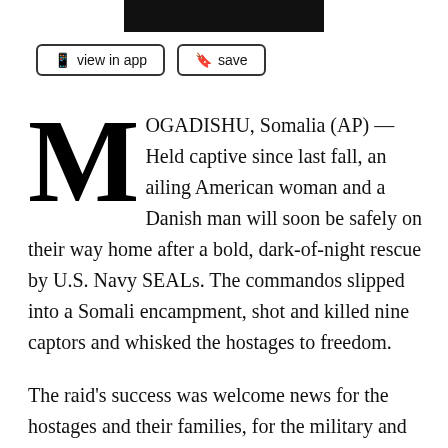[Figure (other): Black rectangular banner/header bar at top of page]
view in app
save
MOGADISHU, Somalia (AP) — Held captive since last fall, an ailing American woman and a Danish man will soon be safely on their way home after a bold, dark-of-night rescue by U.S. Navy SEALs. The commandos slipped into a Somali encampment, shot and killed nine captors and whisked the hostages to freedom.
The raid's success was welcome news for the hostages and their families, for the military and for